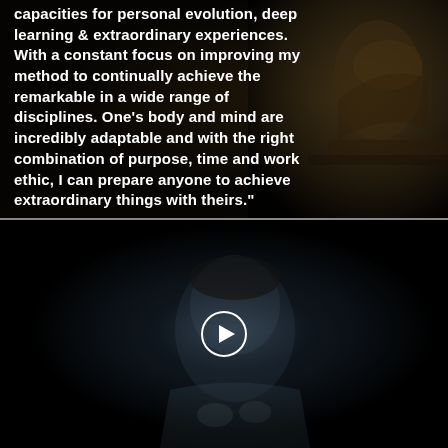[Figure (photo): Dark gym/fitness background with person exercising on rowing machine, partially visible on right side, dark moody atmosphere]
capacities for personal evolution, deep learning & extraordinary experiences. With a constant focus on improving my method to continually achieve the remarkable in a wide range of disciplines. One's body and mind are incredibly adaptable and with the right combination of purpose, time and work ethic, I can prepare anyone to achieve extraordinary things with theirs."
DAMIAN BROWNE
[Figure (photo): Dark portrait photo of a man (Damian Browne) with a play button circle overlay in the center, suggesting a video thumbnail. The man is wearing a grey shirt and looking intensely at the camera.]